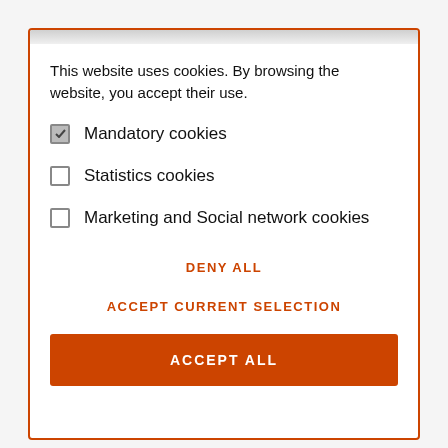This website uses cookies. By browsing the website, you accept their use.
☑ Mandatory cookies
☐ Statistics cookies
☐ Marketing and Social network cookies
DENY ALL
ACCEPT CURRENT SELECTION
ACCEPT ALL